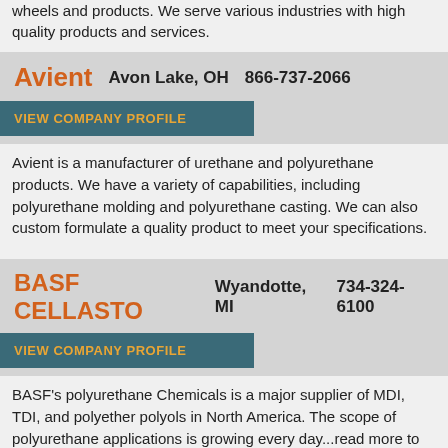wheels and products. We serve various industries with high quality products and services.
Avient   Avon Lake, OH   866-737-2066
VIEW COMPANY PROFILE
Avient is a manufacturer of urethane and polyurethane products. We have a variety of capabilities, including polyurethane molding and polyurethane casting. We can also custom formulate a quality product to meet your specifications.
BASF CELLASTO   Wyandotte, MI   734-324-6100
VIEW COMPANY PROFILE
BASF's polyurethane Chemicals is a major supplier of MDI, TDI, and polyether polyols in North America. The scope of polyurethane applications is growing every day...read more to find out how BASF's polyurethane Chemicals like our Polyutethane Specialty Systems, Cellasto® MCUs (microcellular polyurethanes), and Elastollan® thermoplastic